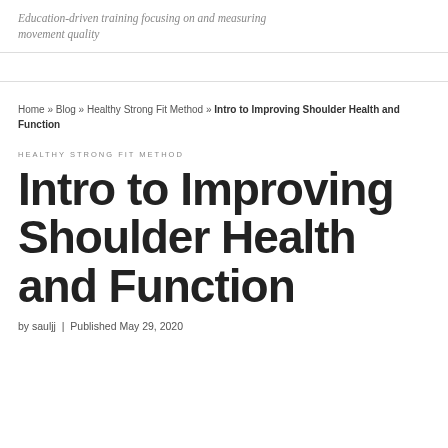Education-driven training focusing on and measuring movement quality
Home » Blog » Healthy Strong Fit Method » Intro to Improving Shoulder Health and Function
HEALTHY STRONG FIT METHOD
Intro to Improving Shoulder Health and Function
by sauljj | Published May 29, 2020